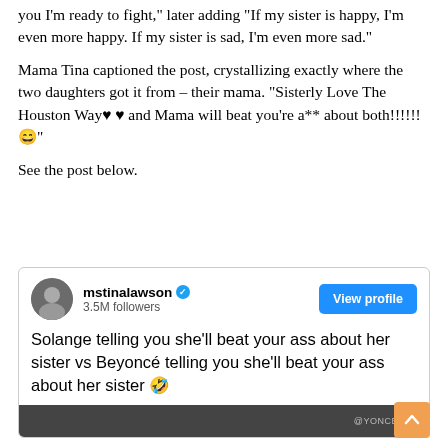you I'm ready to fight," later adding "If my sister is happy, I'm even more happy.  If my sister is sad, I'm even more sad."
Mama Tina captioned the post, crystallizing exactly where the two daughters got it from – their mama. "Sisterly Love The Houston Way♥ ♥ and Mama will beat you're a** about both!!!!!! 😄"
See the post below.
[Figure (screenshot): Instagram post screenshot from mstinalawson (3.5M followers, verified). Post text reads: 'Solange telling you she'll beat your ass about her sister vs Beyoncé telling you she'll beat your ass about her sister 🤣'. Shows partial image at bottom with @YONCEHUN watermark.]